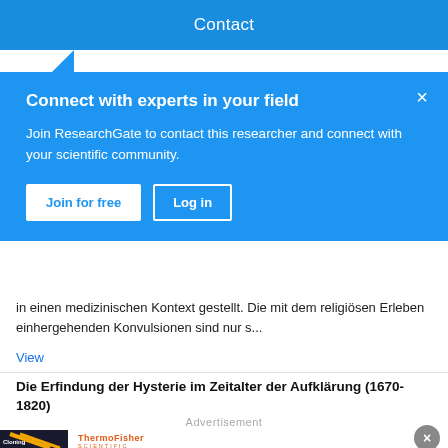Contact
Connect with experts in your field
Join ResearchGate to contact this researcher and connect with your scientific community.
Join for free   Log in
in einen medizinischen Kontext gestellt. Die mit dem religiösen Erleben einhergehenden Konvulsionen sind nur s...
View
Die Erfindung der Hysterie im Zeitalter der Aufklärung (1670-1820)
Advertisement
Cloning solutions made for advancement